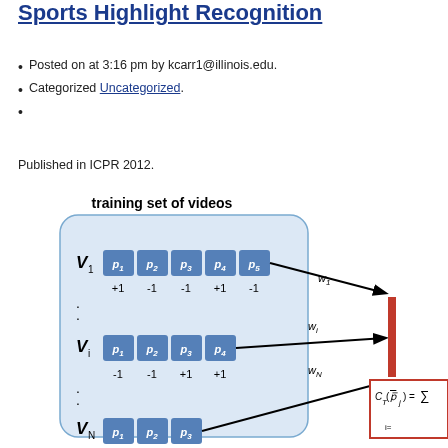Sports Highlight Recognition
Posted on at 3:16 pm by kcarr1@illinois.edu.
Categorized Uncategorized.
Published in ICPR 2012.
[Figure (schematic): Diagram showing training set of videos (V1, Vi, VN) each with pattern vectors (p1..p5, p1..p4, p1..p3) and binary labels (+1/-1), connected via weights (w1, wi, wN) to a formula box showing C_T(p-bar_j) = sum over i=...]